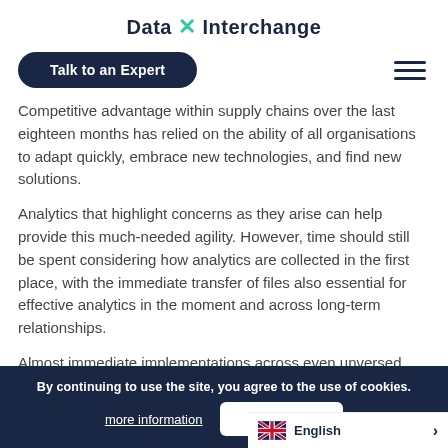Data X Interchange
Talk to an Expert
Competitive advantage within supply chains over the last eighteen months has relied on the ability of all organisations to adapt quickly, embrace new technologies, and find new solutions.
Analytics that highlight concerns as they arise can help provide this much-needed agility. However, time should still be spent considering how analytics are collected in the first place, with the immediate transfer of files also essential for effective analytics in the moment and across long-term relationships.
Almost immediate implementations across even unversed supply chain participants – EDI-as-a-Service easily offers these benefits, it is possible to quickly onboard new suppliers (or a more effective range of partners…
By continuing to use the site, you agree to the use of cookies.
more information
Accept
English